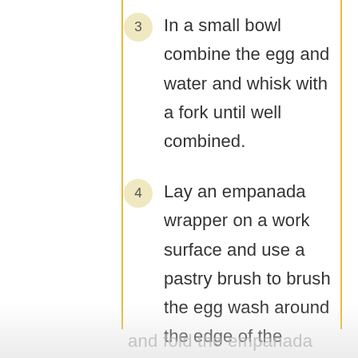3 In a small bowl combine the egg and water and whisk with a fork until well combined.
4 Lay an empanada wrapper on a work surface and use a pastry brush to brush the egg wash around the edge of the empanada wrapper. Fill the center of the wrapper with 1-2 tablespoons of the pork filling. Sprinkle with cheese and fold the empanada